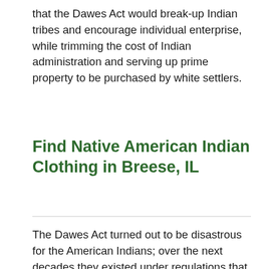that the Dawes Act would break-up Indian tribes and encourage individual enterprise, while trimming the cost of Indian administration and serving up prime property to be purchased by white settlers.
Find Native American Indian Clothing in Breese, IL
The Dawes Act turned out to be disastrous for the American Indians; over the next decades they existed under regulations that outlawed their traditional approach to life but did not supply the vital resources to support their businesses and households. Splitting the reservations into small parcels of land caused the